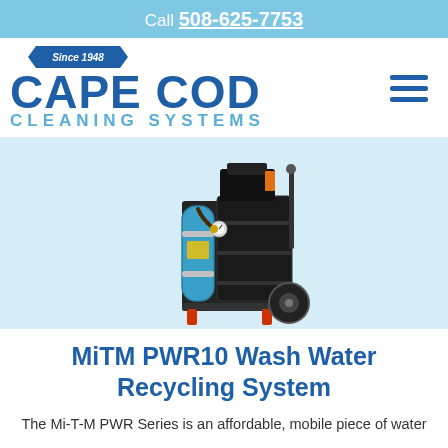Call 508-625-7753
[Figure (logo): Cape Cod Cleaning Systems logo with 'Since 1948' ribbon banner, blue text]
[Figure (photo): MiTM PWR10 Wash Water Recycling System machine — a black metal cart with a blue cylindrical filter, black drum tank, hoses, pressure gauge, engine, and wheels]
MiTM PWR10 Wash Water Recycling System
The Mi-T-M PWR Series is an affordable, mobile piece of water